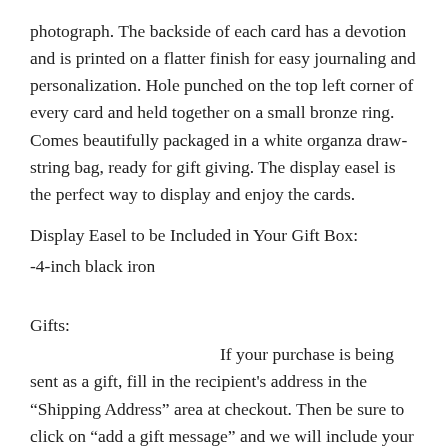photograph. The backside of each card has a devotion and is printed on a flatter finish for easy journaling and personalization. Hole punched on the top left corner of every card and held together on a small bronze ring. Comes beautifully packaged in a white organza draw-string bag, ready for gift giving. The display easel is the perfect way to display and enjoy the cards.
Display Easel to be Included in Your Gift Box:
-4-inch black iron
Gifts:
If your purchase is being sent as a gift, fill in the recipient's address in the "Shipping Address" area at checkout. Then be sure to click on "add a gift message" and we will include your message in the order.